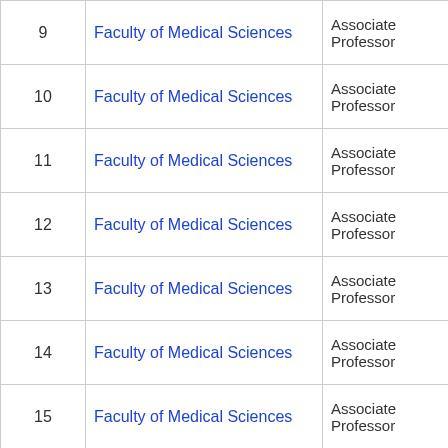| # | Faculty | Rank | Name |
| --- | --- | --- | --- |
| 9 | Faculty of Medical Sciences | Associate Professor | Sa... |
| 10 | Faculty of Medical Sciences | Associate Professor | Tan... |
| 11 | Faculty of Medical Sciences | Associate Professor | Tog... |
| 12 | Faculty of Medical Sciences | Associate Professor | Ton... |
| 13 | Faculty of Medical Sciences | Associate Professor | YA... |
| 14 | Faculty of Medical Sciences | Associate Professor | Yas... |
| 15 | Faculty of Medical Sciences | Associate Professor | Yul... |